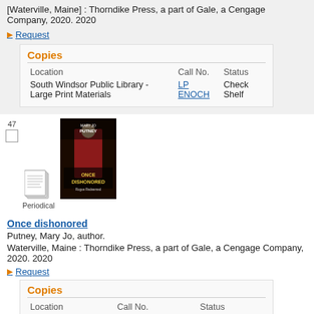[Waterville, Maine] : Thorndike Press, a part of Gale, a Cengage Company, 2020. 2020
Request
Copies
| Location | Call No. | Status |
| --- | --- | --- |
| South Windsor Public Library - Large Print Materials | LP ENOCH | Check Shelf |
47
[Figure (illustration): Periodical icon - stack of papers icon labeled 'Periodical']
[Figure (photo): Book cover of 'Once Dishonored' by Mary Jo Putney - Rogue Redeemed series]
Once dishonored
Putney, Mary Jo, author.
Waterville, Maine : Thorndike Press, a part of Gale, a Cengage Company, 2020. 2020
Request
Copies
| Location | Call No. | Status |
| --- | --- | --- |